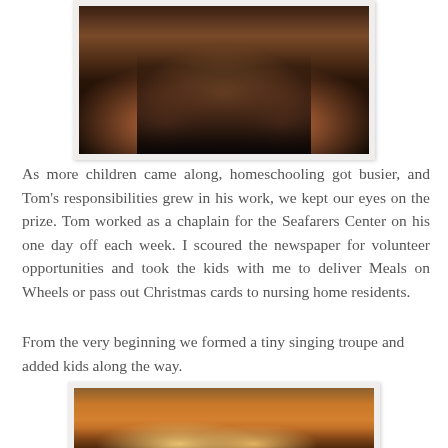[Figure (photo): Partial photo of children sitting together, cropped at top of page]
As more children came along, homeschooling got busier, and Tom's responsibilities grew in his work, we kept our eyes on the prize. Tom worked as a chaplain for the Seafarers Center on his one day off each week. I scoured the newspaper for volunteer opportunities and took the kids with me to deliver Meals on Wheels or pass out Christmas cards to nursing home residents.
From the very beginning we formed a tiny singing troupe and added kids along the way.
[Figure (photo): Photo of children at sunset with boats/masts in background, warm orange tones]